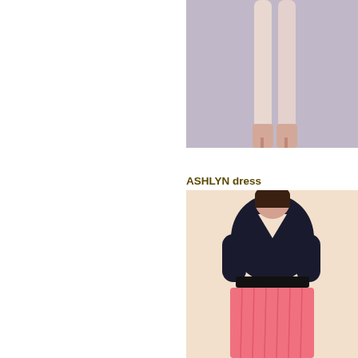[Figure (photo): Product photo of ASHLYN dress by PERRY #D660 showing legs/shoes on grey-purple background, cropped at top right]
ASHLYN dress PERRY #D660
RRP: $2,100.00
Sale Price: $1,050...
[Figure (photo): Product photo of a woman wearing a black top and pink pleated skirt, on a peach/cream background, cropped at bottom right]